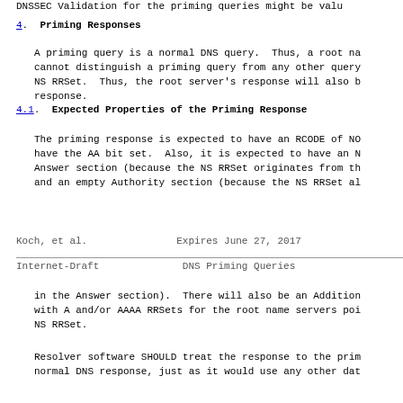DNSSEC Validation for the priming queries might be valu
4.  Priming Responses
A priming query is a normal DNS query.  Thus, a root na cannot distinguish a priming query from any other query NS RRSet.  Thus, the root server's response will also b response.
4.1.  Expected Properties of the Priming Response
The priming response is expected to have an RCODE of NO have the AA bit set.  Also, it is expected to have an N Answer section (because the NS RRSet originates from th and an empty Authority section (because the NS RRSet al
Koch, et al.                 Expires June 27, 2017
Internet-Draft               DNS Priming Queries
in the Answer section).  There will also be an Addition with A and/or AAAA RRSets for the root name servers poi NS RRSet.
Resolver software SHOULD treat the response to the prim normal DNS response, just as it would use any other dat